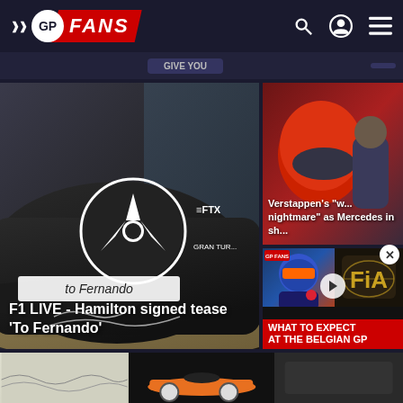GP FANS
[Figure (screenshot): GP Fans website header with logo, search icon, user icon, and menu icon on dark navy background]
[Figure (photo): Mercedes F1 cap signed 'To Fernando' with FTX and Gran Turismo logos - main article image]
F1 LIVE - Hamilton signed tease 'To Fernando'
[Figure (photo): Right side article thumbnail showing F1 driver in red helmet]
Verstappen's "w... nightmare" as Mercedes in sh...
[Figure (screenshot): Video thumbnail: What to expect at the Belgian GP - showing Max Verstappen and FIA logo]
WHAT TO EXPECT AT THE BELGIAN GP
[Figure (photo): Bottom row of article thumbnails - three images showing various F1 content]